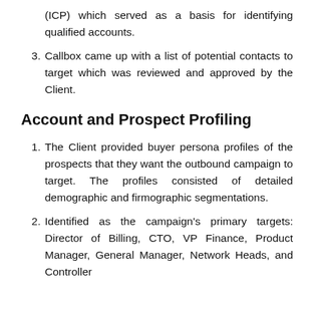(ICP) which served as a basis for identifying qualified accounts.
3. Callbox came up with a list of potential contacts to target which was reviewed and approved by the Client.
Account and Prospect Profiling
1. The Client provided buyer persona profiles of the prospects that they want the outbound campaign to target. The profiles consisted of detailed demographic and firmographic segmentations.
2. Identified as the campaign's primary targets: Director of Billing, CTO, VP Finance, Product Manager, General Manager, Network Heads, and Controller